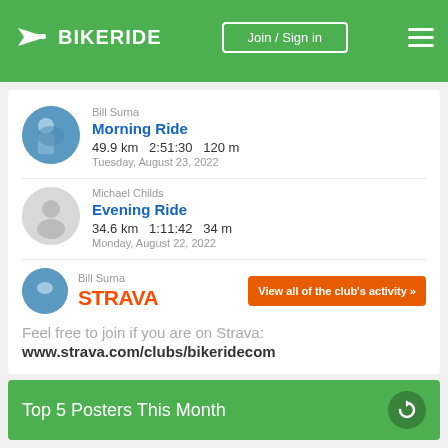BIKERIDE — Join / Sign in
Bill Surna
Morning Ride
49.9 km   2:51:30   120 m
Tuesday, August 23, 2022
Michael Childs
Evening Ride
34.6 km   1:11:42   34 m
Monday, August 22, 2022
Bill Surna
[Figure (logo): STRAVA logo in orange text]
View all of the club's activity »
Feel free to join if you are on Strava:
www.strava.com/clubs/bikeridecom
Top 5 Posters This Month